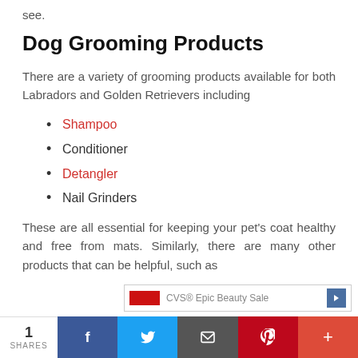see.
Dog Grooming Products
There are a variety of grooming products available for both Labradors and Golden Retrievers including
Shampoo
Conditioner
Detangler
Nail Grinders
These are all essential for keeping your pet's coat healthy and free from mats. Similarly, there are many other products that can be helpful, such as
[Figure (other): Advertisement banner showing CVS Epic Beauty Sale with red graphic and blue arrow]
1 SHARES | Facebook | Twitter | Email | Pinterest | Plus